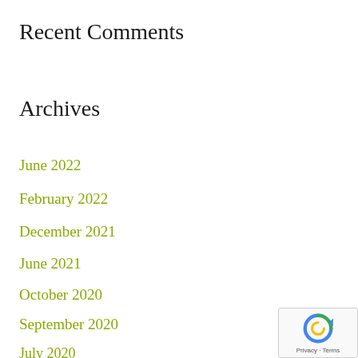Recent Comments
Archives
June 2022
February 2022
December 2021
June 2021
October 2020
September 2020
July 2020
April 2020